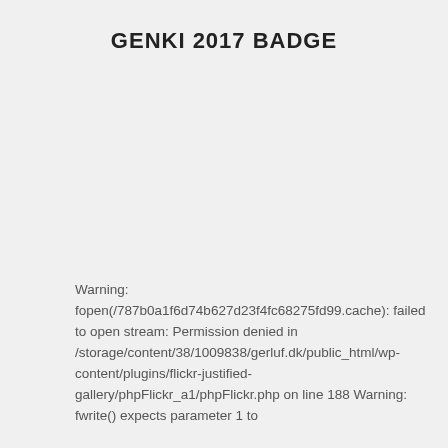GENKI 2017 BADGE
Warning: fopen(/787b0a1f6d74b627d23f4fc68275fd99.cache): failed to open stream: Permission denied in /storage/content/38/1009838/gerluf.dk/public_html/wp-content/plugins/flickr-justified-gallery/phpFlickr_a1/phpFlickr.php on line 188 Warning: fwrite() expects parameter 1 to